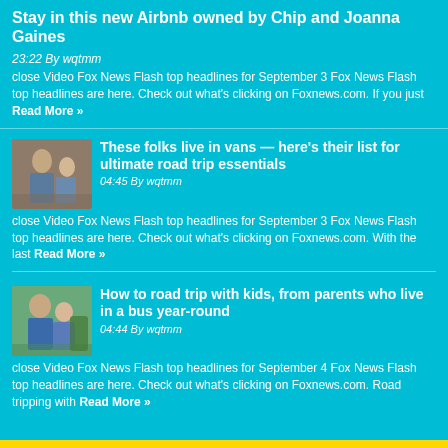Stay in this new Airbnb owned by Chip and Joanna Gaines
23:22 By wqtmm
close Video Fox News Flash top headlines for September 3 Fox News Flash top headlines are here. Check out what's clicking on Foxnews.com. If you just Read More »
[Figure (photo): Thumbnail photo of people, article about living in vans]
These folks live in vans — here's their list for ultimate road trip essentials
04:45 By wqtmm
close Video Fox News Flash top headlines for September 3 Fox News Flash top headlines are here. Check out what's clicking on Foxnews.com. With the last Read More »
[Figure (photo): Thumbnail photo of family, article about road tripping with kids on a bus]
How to road trip with kids, from parents who live in a bus year-round
04:44 By wqtmm
close Video Fox News Flash top headlines for September 4 Fox News Flash top headlines are here. Check out what's clicking on Foxnews.com. Road tripping with Read More »